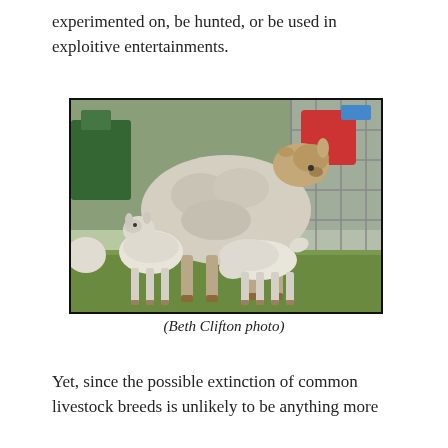experimented on, be hunted, or be used in exploitive entertainments.
[Figure (photo): A ewe (adult sheep) with two white lambs nursing underneath her, in a farm pen setting with metal fencing. Photo taken outdoors on grass.]
(Beth Clifton photo)
Yet, since the possible extinction of common livestock breeds is unlikely to be anything more